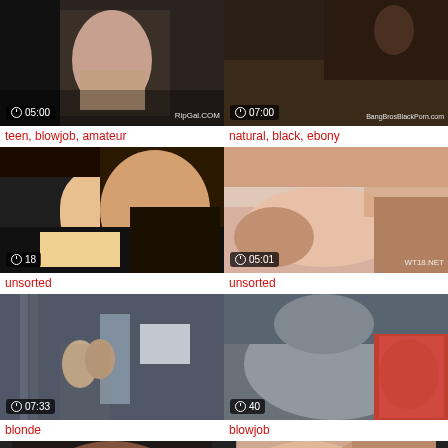[Figure (screenshot): Video thumbnail with duration 05:00 and watermark RipGal.COM]
teen, blowjob, amateur
[Figure (screenshot): Video thumbnail with duration 07:00 and watermark BangBrosBlackPorn.com]
natural, black, ebony
[Figure (screenshot): Video thumbnail with duration 18 (minutes)]
unsorted
[Figure (screenshot): Video thumbnail with duration 05:01 and watermark WT18.NET]
unsorted
[Figure (screenshot): Video thumbnail with duration 07:33]
blonde
[Figure (screenshot): Video thumbnail with duration 40 (seconds)]
blowjob
[Figure (screenshot): Video thumbnail bottom left, partial]
[Figure (screenshot): Video thumbnail bottom right, partial, with back-to-top button]